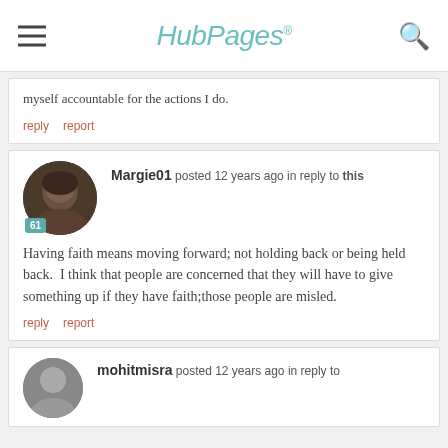HubPages
myself accountable for the actions I do.
reply   report
Margie01 posted 12 years ago in reply to this
Having faith means moving forward; not holding back or being held back.  I think that people are concerned that they will have to give something up if they have faith;those people are misled.
reply   report
mohitmisra posted 12 years ago in reply to